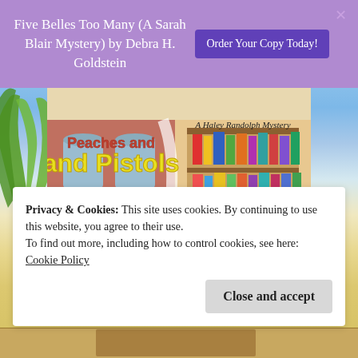Five Belles Too Many (A Sarah Blair Mystery) by Debra H. Goldstein
Order Your Copy Today!
[Figure (photo): Book cover for a mystery novel showing 'and Pistols - A Haley Randolph Mystery' with a colorful illustration of a bookshop storefront with brick buildings and a bookshelf interior]
Privacy & Cookies: This site uses cookies. By continuing to use this website, you agree to their use.
To find out more, including how to control cookies, see here:
Cookie Policy
Close and accept